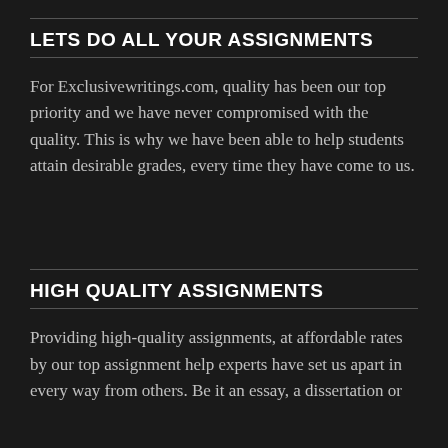LETS DO ALL YOUR ASSIGNMENTS
For Exclusivewritings.com, quality has been our top priority and we have never compromised with the quality. This is why we have been able to help students attain desirable grades, every time they have come to us.
HIGH QUALITY ASSIGNMENTS
Providing high-quality assignments, at affordable rates by our top assignment help experts have set us apart in every way from others. Be it an essay, a dissertation or